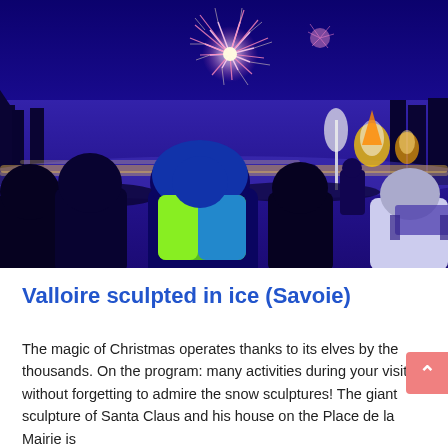[Figure (photo): Nighttime winter festival scene with fireworks bursting in a dark blue sky above a snowy landscape. Silhouettes of a crowd of people in the foreground, including a person in a bright green/yellow jacket. Fire torches and event banners visible in the background on a frozen lake or field.]
Valloire sculpted in ice (Savoie)
The magic of Christmas operates thanks to its elves by the thousands. On the program: many activities during your visit, without forgetting to admire the snow sculptures! The giant sculpture of Santa Claus and his house on the Place de la Mairie is